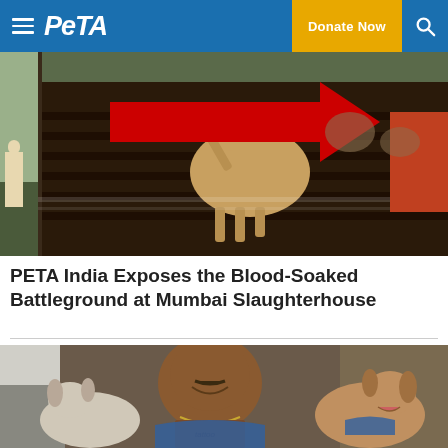PETA | Donate Now
[Figure (photo): A goat struggling to escape from a truck, with a red arrow pointing at it. A person in white clothing stands in the background. Scene appears to be at a slaughterhouse transport vehicle.]
PETA India Exposes the Blood-Soaked Battleground at Mumbai Slaughterhouse
[Figure (photo): A smiling man (Danny Trejo) sitting in a car window, shirtless with tattoos and a necklace, flanked by two dogs wearing blue bandanas.]